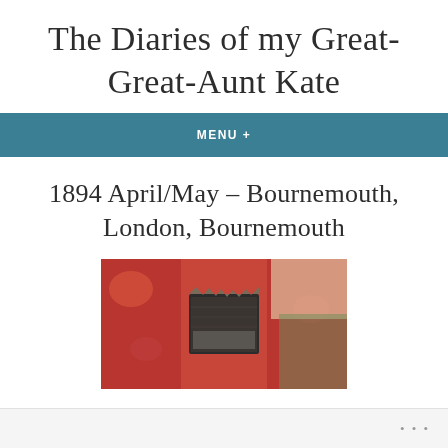The Diaries of my Great-Great-Aunt Kate
MENU +
1894 April/May – Bournemouth, London, Bournemouth
[Figure (photo): Close-up photograph of a worn, damaged book cover or diary with floral textile fabric showing red and green pattern, with torn and aged binding visible in center.]